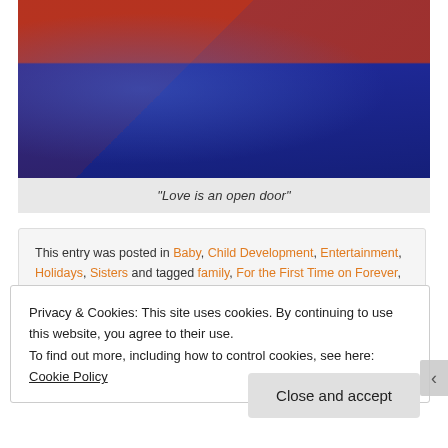[Figure (photo): Person wearing red long-sleeve top and blue skirt/dress, holding a cord or leash, photographed from mid-torso down]
"Love is an open door"
This entry was posted in Baby, Child Development, Entertainment, Holidays, Sisters and tagged family, For the First Time on Forever, Frozen,
Privacy & Cookies: This site uses cookies. By continuing to use this website, you agree to their use.
To find out more, including how to control cookies, see here: Cookie Policy